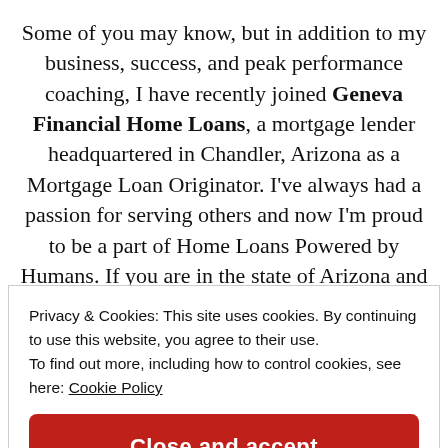Some of you may know, but in addition to my business, success, and peak performance coaching, I have recently joined Geneva Financial Home Loans, a mortgage lender headquartered in Chandler, Arizona as a Mortgage Loan Originator. I've always had a passion for serving others and now I'm proud to be a part of Home Loans Powered by Humans. If you are in the state of Arizona and looking to take the next step in your
Privacy & Cookies: This site uses cookies. By continuing to use this website, you agree to their use.
To find out more, including how to control cookies, see here: Cookie Policy
Close and accept